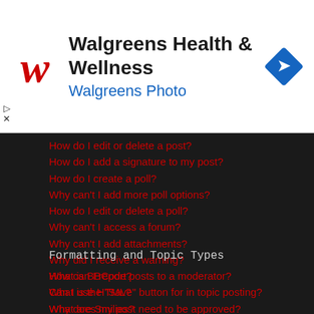[Figure (logo): Walgreens Health & Wellness advertisement banner with Walgreens 'W' logo in red italic, text 'Walgreens Health & Wellness' in black and 'Walgreens Photo' in blue, and a blue diamond navigation icon on the right]
How do I edit or delete a post?
How do I add a signature to my post?
How do I create a poll?
Why can't I add more poll options?
How do I edit or delete a poll?
Why can't I access a forum?
Why can't I add attachments?
Why did I receive a warning?
How can I report posts to a moderator?
What is the "Save" button for in topic posting?
Why does my post need to be approved?
How do I bump my topic?
Formatting and Topic Types
What is BBCode?
Can I use HTML?
What are Smilies?
Can I post images?